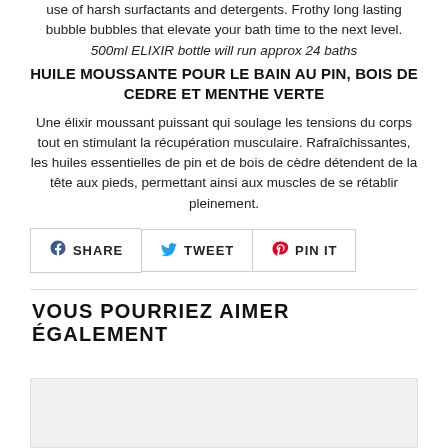use of harsh surfactants and detergents. Frothy long lasting bubble bubbles that elevate your bath time to the next level.
500ml ELIXIR bottle will run approx 24 baths
HUILE MOUSSANTE POUR LE BAIN AU PIN, BOIS DE CEDRE ET MENTHE VERTE
Une élixir moussant puissant qui soulage les tensions du corps tout en stimulant la récupération musculaire. Rafraîchissantes, les huiles essentielles de pin et de bois de cèdre détendent de la tête aux pieds, permettant ainsi aux muscles de se rétablir pleinement.
SHARE   TWEET   PIN IT
VOUS POURRIEZ AIMER ÉGALEMENT
[Figure (photo): Bottom placeholder image area, light gray background]